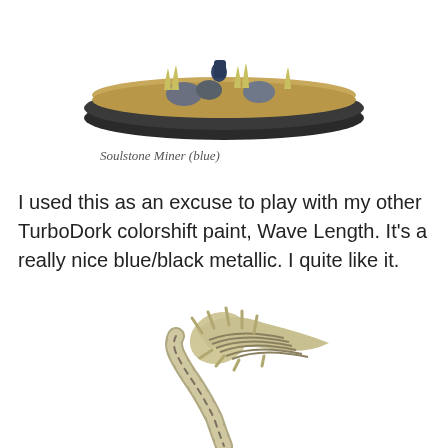[Figure (photo): A painted miniature figure base with oval black rim, sandy texture, small rocks, and tufts of yellowish grass.]
Soulstone Miner (blue)
I used this as an excuse to play with my other TurboDork colorshift paint, Wave Length. It’s a really nice blue/black metallic. I quite like it.
[Figure (photo): A painted miniature of a segmented, spiral-shelled creature with a curved worm-like body, spikes, and a conical shell, painted in bone/cream tones with dark washes.]